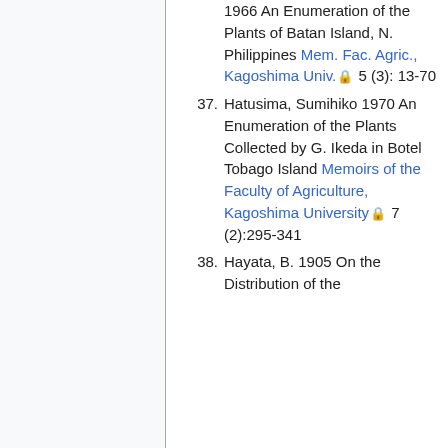1966 An Enumeration of the Plants of Batan Island, N. Philippines Mem. Fac. Agric., Kagoshima Univ. 5 (3): 13-70
37. Hatusima, Sumihiko 1970 An Enumeration of the Plants Collected by G. Ikeda in Botel Tobago Island Memoirs of the Faculty of Agriculture, Kagoshima University 7 (2):295-341
38. Hayata, B. 1905 On the Distribution of the